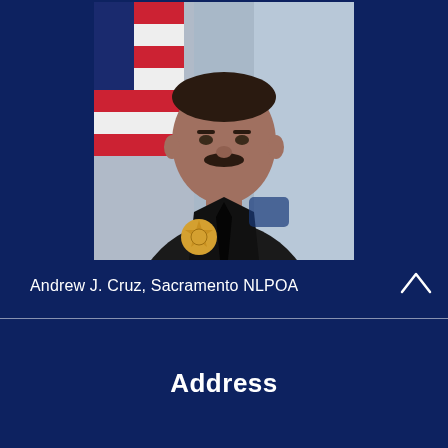[Figure (photo): Portrait photo of Andrew J. Cruz in police uniform with badge and American flag in background]
Andrew J. Cruz, Sacramento NLPOA
Address